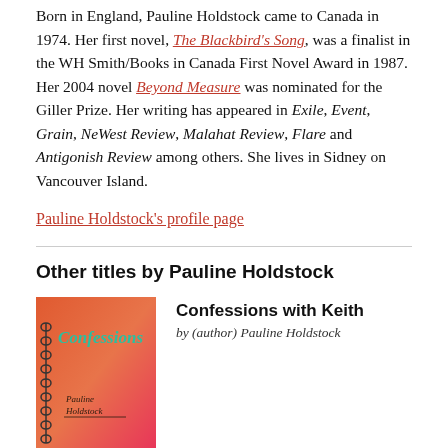Born in England, Pauline Holdstock came to Canada in 1974. Her first novel, The Blackbird's Song, was a finalist in the WH Smith/Books in Canada First Novel Award in 1987. Her 2004 novel Beyond Measure was nominated for the Giller Prize. Her writing has appeared in Exile, Event, Grain, NeWest Review, Malahat Review, Flare and Antigonish Review among others. She lives in Sidney on Vancouver Island.
Pauline Holdstock's profile page
Other titles by Pauline Holdstock
[Figure (illustration): Book cover of 'Confessions with Keith' by Pauline Holdstock. The cover shows a spiral-bound notebook style design with the word 'Confessions' in large teal/green handwritten text at the top on an orange-pink gradient background, with the author's name 'Pauline Holdstock' handwritten in script below.]
Confessions with Keith
by (author) Pauline Holdstock